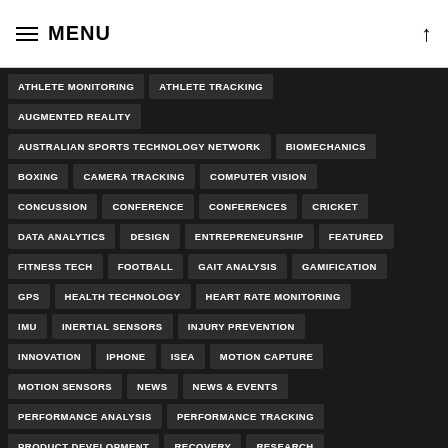MENU
ATHLETE MONITORING
ATHLETE TRACKING
AUGMENTED REALITY
AUSTRALIAN SPORTS TECHNOLOGY NETWORK
BIOMECHANICS
BOXING
CAMERA TRACKING
COMPUTER VISION
CONCUSSION
CONFERENCE
CONFERENCES
CRICKET
DATA ANALYTICS
DESIGN
ENTREPRENEURSHIP
FEATURED
FITNESS TECH
FOOTBALL
GAIT ANALYSIS
GAMIFICATION
GPS
HEALTH TECHNOLOGY
HEART RATE MONITORING
IMU
INERTIAL SENSORS
INJURY PREVENTION
INNOVATION
IPHONE
ISEA
MOTION CAPTURE
MOTION SENSORS
NEWS
NEWS & EVENTS
PERFORMANCE ANALYSIS
PERFORMANCE TRACKING
PRODUCT DEVELOPMENT
RECOVERY
RESEARCH
RUNNING
SENSORS
SMART BALL
SMART PHONE